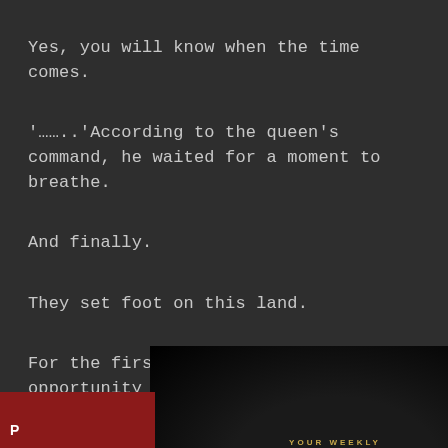Yes, you will know when the time comes.
'……..'According to the queen's command, he waited for a moment to breathe.
And finally.
They set foot on this land.
For the first time, Berr had the opportunity to test his true strength.
that is
"Wha
[Figure (screenshot): Pop-up advertisement overlay. Left side: 'YOUR WEEKLY Astrology READING' in gold text on black background. Right side: white panel with text '[Pics] Your Astrology For The Next 7 Days Is Just A Click Away' by Astrologiez, PurpleAds. A dark circular scroll-to-top button is visible on the right edge.]